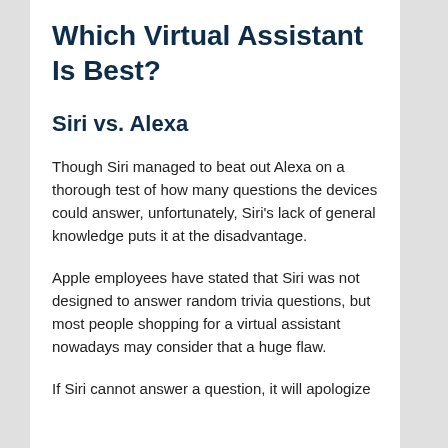Which Virtual Assistant Is Best?
Siri vs. Alexa
Though Siri managed to beat out Alexa on a thorough test of how many questions the devices could answer, unfortunately, Siri's lack of general knowledge puts it at the disadvantage.
Apple employees have stated that Siri was not designed to answer random trivia questions, but most people shopping for a virtual assistant nowadays may consider that a huge flaw.
If Siri cannot answer a question, it will apologize